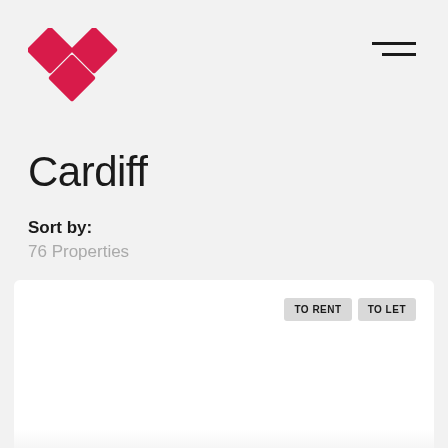[Figure (logo): Diamond/rhombus pattern logo in crimson/red color, arranged in a heart or downward arrow shape]
Cardiff
Sort by:
76 Properties
[Figure (other): Property listing card (white card) with TO RENT and TO LET badges in the top right corner, and a faded image at the bottom]